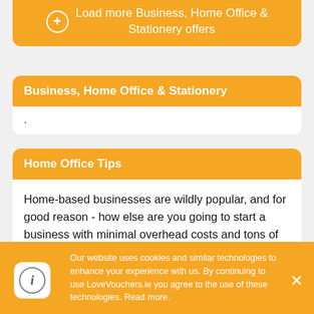Load more Business, Home Office & Stationery offers
Business, Home Office & Stationery
.
Home Office Tips
Home-based businesses are wildly popular, and for good reason - how else are you going to start a business with minimal overhead costs and tons of flexibility?
Our website uses cookies and similar technologies to enhance your experience with us. By continuing to use LoveVouchers.ie you agree to the use of these technologies. Read more.